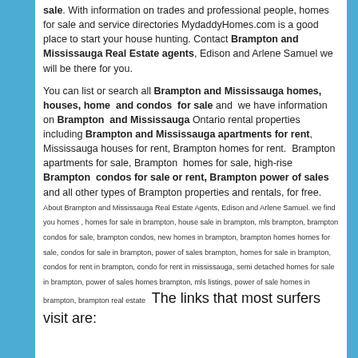sale.  With information on trades and professional people, homes for sale and service directories MydaddyHomes.com is a good place to start your house hunting.  Contact Brampton and Mississauga Real Estate agents, Edison and Arlene Samuel we will be there for you.

You can list or search all Brampton and Mississauga homes, houses, home  and condos  for sale and  we have information on Brampton  and Mississauga Ontario rental properties including Brampton and Mississauga apartments for rent,  Mississauga houses for rent, Brampton homes for rent.  Brampton apartments for sale, Brampton  homes for sale, high-rise Brampton  condos for sale or rent, Brampton power of sales and all other types of Brampton properties and rentals, for free.   About Brampton and Mississauga Real Estate Agents, Edison and Arlene Samuel. we find you homes , homes for sale in brampton, house sale in brampton, mls brampton, brampton condos for sale, brampton condos, new homes in brampton, brampton homes homes for sale, condos for sale in brampton, power of sales brampton, homes for sale in brampton, condos for rent in brampton, condo for rent in mississauga, semi detached homes for sale in brampton, power of sales homes brampton, mls listings, power of sale homes in brampton, brampton real estate   The links that most surfers visit are: